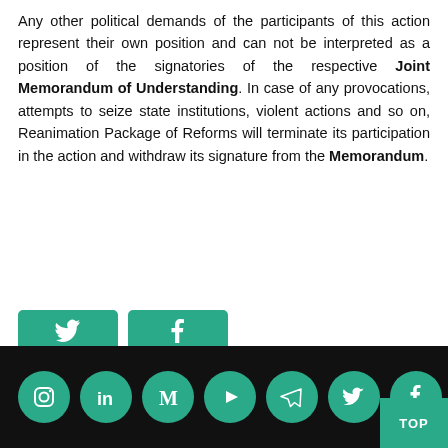Any other political demands of the participants of this action represent their own position and can not be interpreted as a position of the signatories of the respective Joint Memorandum of Understanding. In case of any provocations, attempts to seize state institutions, violent actions and so on, Reanimation Package of Reforms will terminate its participation in the action and withdraw its signature from the Memorandum.
[Figure (other): Social media share buttons: Twitter (teal rounded button with bird icon), Facebook (teal rounded button with f icon), and a wide teal Telegram follow button with paper plane icon labeled 'Читайте нас також у Telegram']
Footer bar with social media icons: Instagram, LinkedIn, Medium, YouTube/Play, Telegram, Twitter, Facebook (all teal circles on black background), and a TOP button